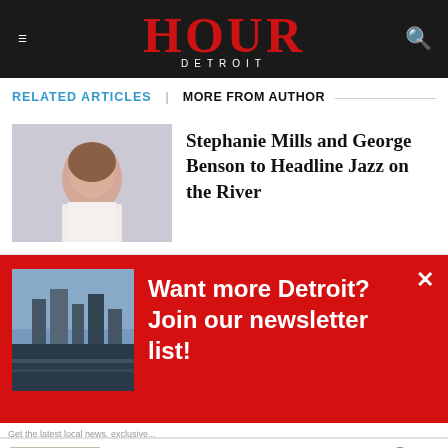HOUR DETROIT
RELATED ARTICLES   MORE FROM AUTHOR
Stephanie Mills and George Benson to Headline Jazz on the River
[Figure (photo): Newsletter signup banner with Detroit cityscape photo and text: Want more Detroit? Join our newsletter list!]
Cheryl's: Cookie Delivery
gourmet brownies, cakes, cookies and cookie gift baskets
www.cheryls.com